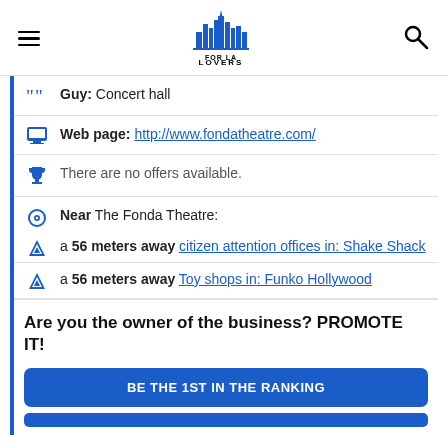FOR LA LOVERS
Guy: Concert hall
Web page: http://www.fondatheatre.com/
There are no offers available.
Near The Fonda Theatre:
a 56 meters away citizen attention offices in: Shake Shack
a 56 meters away Toy shops in: Funko Hollywood
Are you the owner of the business? PROMOTE IT!
BE THE 1ST IN THE RANKING